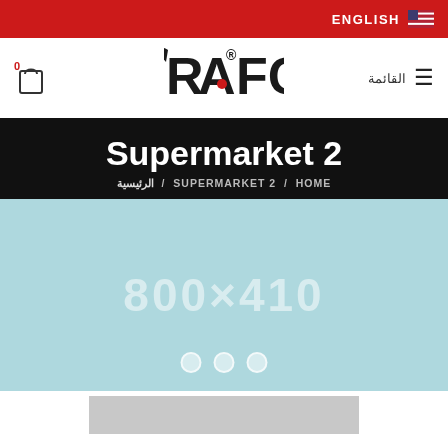ENGLISH
[Figure (logo): RAFC logo with red and black lettering]
Supermarket 2
SUPERMARKET 2 / HOME / الرئيسية
[Figure (other): Light blue slider/banner area with watermark text 800x410 and three navigation dots at bottom]